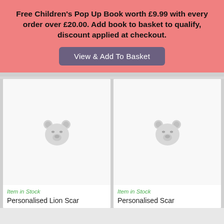Free Children's Pop Up Book worth £9.99 with every order over £20.00. Add book to basket to qualify, discount applied at checkout.
View & Add To Basket
[Figure (illustration): Placeholder bear face icon for product - Personalised Lion Scar]
Item in Stock
Personalised Lion Scar
[Figure (illustration): Placeholder bear face icon for product - Personalised Scar]
Item in Stock
Personalised Scar